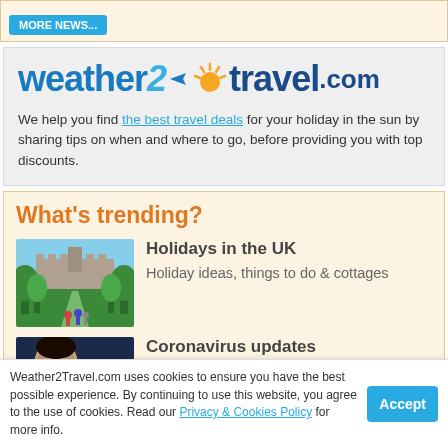[Figure (screenshot): Top banner with 'More news...' button in light beige background]
[Figure (logo): Weather2Travel.com logo with airplane icon and sun graphic on gray background]
We help you find the best travel deals for your holiday in the sun by sharing tips on when and where to go, before providing you with top discounts.
What's trending?
[Figure (photo): Photo of a UK castle (Windsor-style) with a tree-lined avenue and people in foreground]
Holidays in the UK
Holiday ideas, things to do & cottages
[Figure (photo): Photo of a person's face against a blue/dark background, partially visible]
Coronavirus updates
Weather2Travel.com uses cookies to ensure you have the best possible experience. By continuing to use this website, you agree to the use of cookies. Read our Privacy & Cookies Policy for more info.